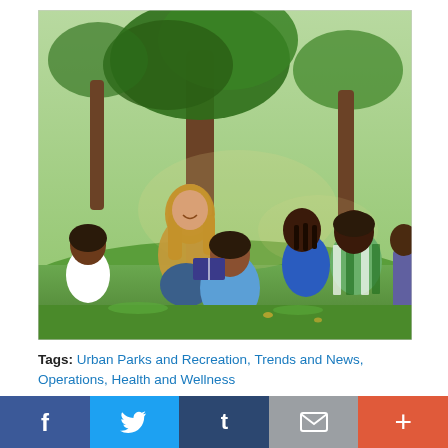[Figure (photo): A smiling woman sits under a tree in a park reading to a diverse group of children seated on the grass around her.]
Tags: Urban Parks and Recreation, Trends and News, Operations, Health and Wellness